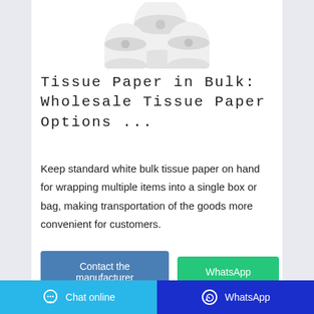[Figure (photo): Tissue paper rolls, white, shown from above on white background]
Tissue Paper in Bulk: Wholesale Tissue Paper Options ...
Keep standard white bulk tissue paper on hand for wrapping multiple items into a single box or bag, making transportation of the goods more convenient for customers.
Contact the manufacturer
WhatsApp
Chat online  |  WhatsApp